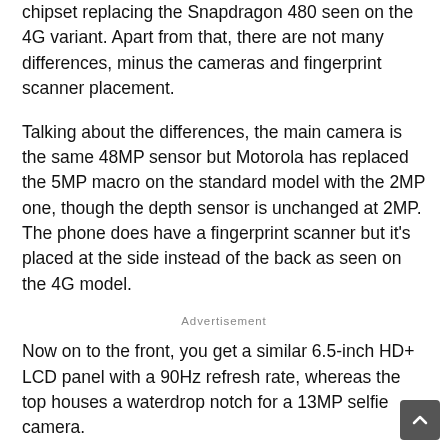chipset replacing the Snapdragon 480 seen on the 4G variant. Apart from that, there are not many differences, minus the cameras and fingerprint scanner placement.
Talking about the differences, the main camera is the same 48MP sensor but Motorola has replaced the 5MP macro on the standard model with the 2MP one, though the depth sensor is unchanged at 2MP. The phone does have a fingerprint scanner but it’s placed at the side instead of the back as seen on the 4G model.
Advertisement
Now on to the front, you get a similar 6.5-inch HD+ LCD panel with a 90Hz refresh rate, whereas the top houses a waterdrop notch for a 13MP selfie camera.
The aforementioned MediaTek Dimensity 700 chipset